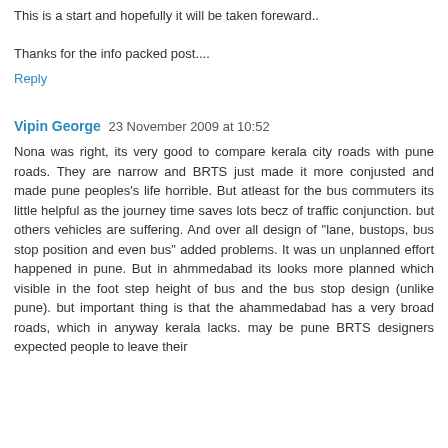This is a start and hopefully it will be taken foreward..
Thanks for the info packed post....
Reply
Vipin George  23 November 2009 at 10:52
Nona was right, its very good to compare kerala city roads with pune roads. They are narrow and BRTS just made it more conjusted and made pune peoples's life horrible. But atleast for the bus commuters its little helpful as the journey time saves lots becz of traffic conjunction. but others vehicles are suffering. And over all design of "lane, bustops, bus stop position and even bus" added problems. It was un unplanned effort happened in pune. But in ahmmedabad its looks more planned which visible in the foot step height of bus and the bus stop design (unlike pune). but important thing is that the ahammedabad has a very broad roads, which in anyway kerala lacks. may be pune BRTS designers expected people to leave their